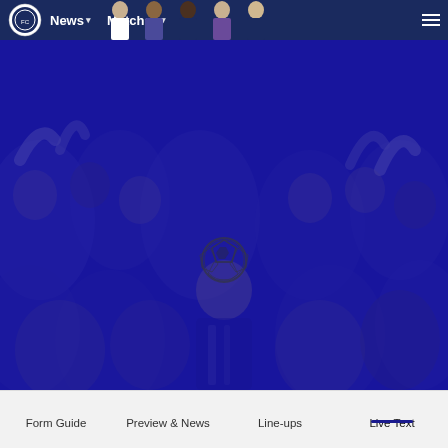News | Matches
[Figure (photo): Blue-tinted hero section showing football fans/crowd with a player in a blue kit in the foreground, and a soccer ball icon overlay in the center]
Form Guide | Preview & News | Line-ups | Live Text